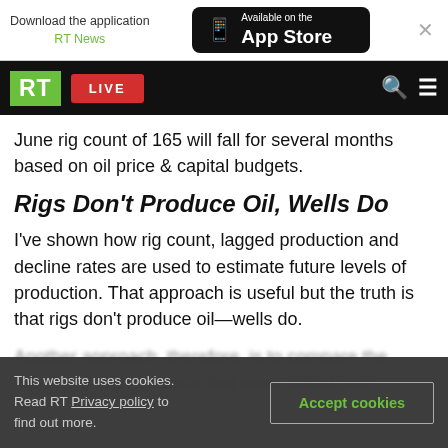Download the application RT News | Available on the App Store
RT LIVE [search] [menu]
June rig count of 165 will fall for several months based on oil price & capital budgets.
Rigs Don't Produce Oil, Wells Do
I've shown how rig count, lagged production and decline rates are used to estimate future levels of production. That approach is useful but the truth is that rigs don't produce oil—wells do.
Another approach, therefore, is to compare the number of tight oil wells that were drilled and
This website uses cookies. Read RT Privacy policy to find out more.
Accept cookies